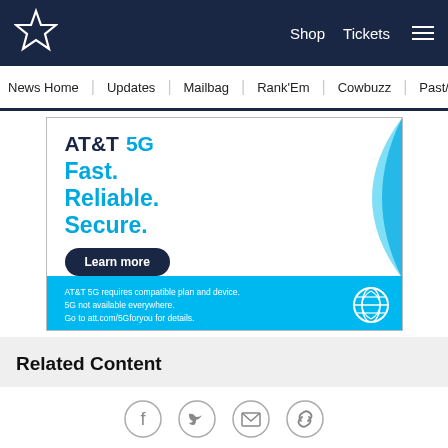Shop  Tickets  ☰
News Home  Updates  Mailbag  Rank'Em  Cowbuzz  Past/Pres
[Figure (infographic): AT&T 5G advertisement banner. Text: AT&T 5G Fast. Reliable. Secure. Learn more button. Footer: AT&T 5G requires compatible plan and device. 5G not available everywhere. Go to att.com/5Gforyou for details. Blue wave graphic with AT&T globe logo.]
Related Content
[Figure (infographic): Social sharing icons row: Facebook, Twitter, Email, Link]